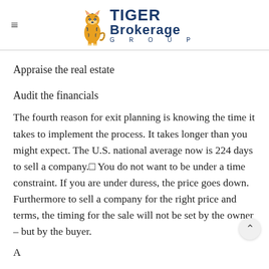TIGER Brokerage GROUP
Appraise the real estate
Audit the financials
The fourth reason for exit planning is knowing the time it takes to implement the process. It takes longer than you might expect. The U.S. national average now is 224 days to sell a company.□ You do not want to be under a time constraint. If you are under duress, the price goes down. Furthermore to sell a company for the right price and terms, the timing for the sale will not be set by the owner – but by the buyer.
A continuation of partial text beginning that the...